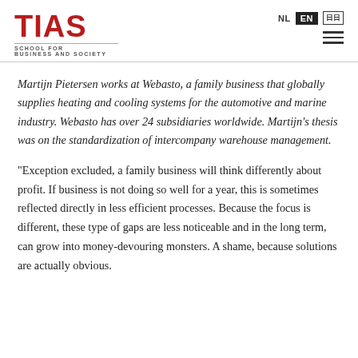TIAS SCHOOL FOR BUSINESS AND SOCIETY | NL EN [ZH]
Martijn Pietersen works at Webasto, a family business that globally supplies heating and cooling systems for the automotive and marine industry. Webasto has over 24 subsidiaries worldwide. Martijn's thesis was on the standardization of intercompany warehouse management.
"Exception excluded, a family business will think differently about profit. If business is not doing so well for a year, this is sometimes reflected directly in less efficient processes. Because the focus is different, these type of gaps are less noticeable and in the long term, can grow into money-devouring monsters. A shame, because solutions are actually obvious.